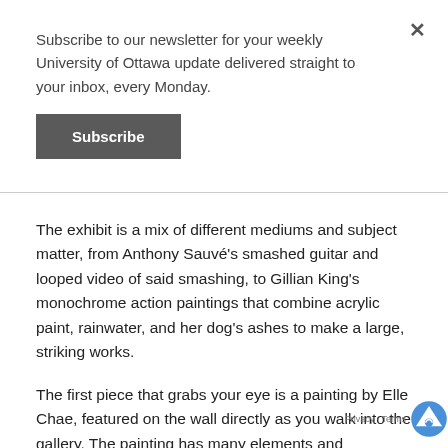Subscribe to our newsletter for your weekly University of Ottawa update delivered straight to your inbox, every Monday.
Subscribe
The exhibit is a mix of different mediums and subject matter, from Anthony Sauvé's smashed guitar and looped video of said smashing, to Gillian King's monochrome action paintings that combine acrylic paint, rainwater, and her dog's ashes to make a large, striking works.
The first piece that grabs your eye is a painting by Elle Chae, featured on the wall directly as you walk into the gallery. The painting has many elements and dimensions that pull you in, as you attempt to make sense of the many shapes and colours interacting with each other in the piece.